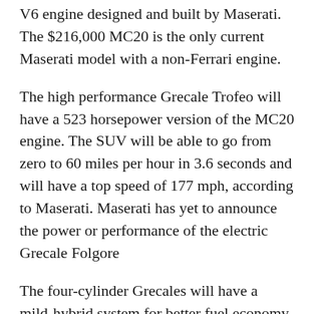V6 engine designed and built by Maserati. The $216,000 MC20 is the only current Maserati model with a non-Ferrari engine.
The high performance Grecale Trofeo will have a 523 horsepower version of the MC20 engine. The SUV will be able to go from zero to 60 miles per hour in 3.6 seconds and will have a top speed of 177 mph, according to Maserati. Maserati has yet to announce the power or performance of the electric Grecale Folgore
The four-cylinder Grecales will have a mild-hybrid system for better fuel economy and performance. The Grecale Modena will have a 325 horsepower version of this system and the Grecale GT, essentially the base model, will have...